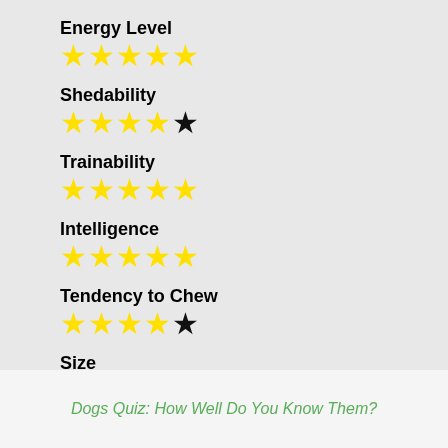Energy Level — 5 yellow stars
Shedability — 4 yellow stars, 1 black star
Trainability — 5 yellow stars
Intelligence — 5 yellow stars
Tendency to Chew — 4 yellow stars, 1 black star
Size — 4 yellow stars, 1 black star
Family and kid friendliness — 5 yellow stars
Dogs Quiz: How Well Do You Know Them?